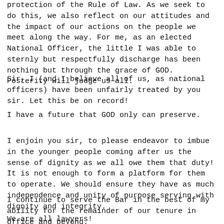protection of the Rule of Law. As we seek to do this, we also reflect on our attitudes and the impact of our actions on the people we meet along the way. For me, as an elected National Officer, the little I was able to sternly but respectfully discharge has been nothing but through the grace of GOD. Posterity will judge us all.
Sir, I (and I believe all of us, as national officers) have been unfairly treated by you sir. Let this be on record!
I have a future that GOD only can preserve.
I enjoin you sir, to please endeavor to imbue in the younger people coming after us the sense of dignity as we all owe them that duty! It is not enough to form a platform for them to operate. We should ensure they have as much independence and unity of purpose serving with dignity and integrity.
I continue to serve the Bar in the best of my ability for the remainder of our tenure in office and beyond.
We are all lawyers!